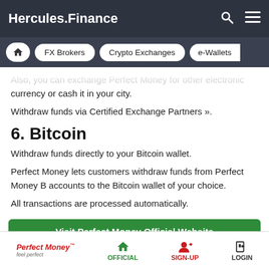Hercules.Finance
FX Brokers | Crypto Exchanges | e-Wallets
Also, you can exchange Perfect Money for other electronic currency or cash it in your city.
Withdraw funds via Certified Exchange Partners ».
6. Bitcoin
Withdraw funds directly to your Bitcoin wallet.
Perfect Money lets customers withdraw funds from Perfect Money B accounts to the Bitcoin wallet of your choice.
All transactions are processed automatically.
Visit Perfect Money Official Website
Perfect Money | OFFICIAL | SIGN-UP | LOGIN